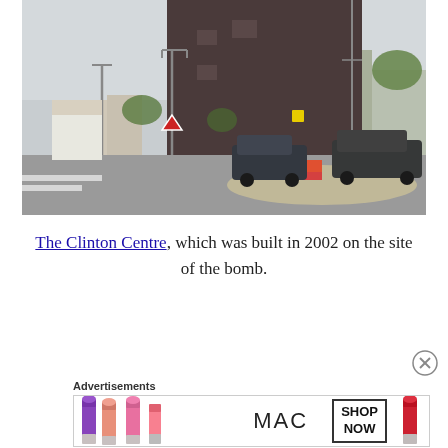[Figure (photo): Street-level photo showing The Clinton Centre, a large dark brown/maroon rectangular building, with cars parked on the street, a roundabout with red flowers, street lights, and surrounding town buildings under an overcast sky.]
The Clinton Centre, which was built in 2002 on the site of the bomb.
Advertisements
[Figure (photo): Advertisement banner for MAC cosmetics showing lipsticks in purple, pink coral, hot pink colors on the left, MAC logo text in the center, a SHOP NOW box, and a red lipstick on the right.]